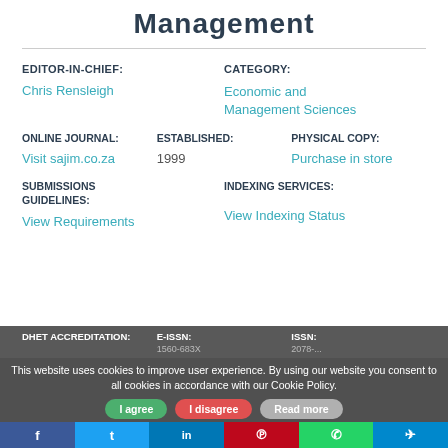Management
EDITOR-IN-CHIEF:
Chris Rensleigh
CATEGORY:
Economic and Management Sciences
ONLINE JOURNAL:
Visit sajim.co.za
ESTABLISHED:
1999
PHYSICAL COPY:
Purchase in store
SUBMISSIONS GUIDELINES:
View Requirements
INDEXING SERVICES:
View Indexing Status
DHET ACCREDITATION:
E-ISSN:
ISSN:
This website uses cookies to improve user experience. By using our website you consent to all cookies in accordance with our Cookie Policy.
I agree
I disagree
Read more